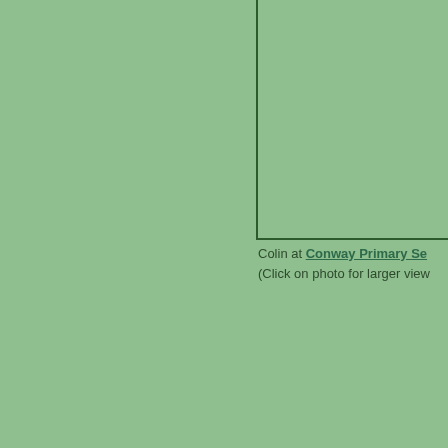[Figure (photo): A photo placeholder shown as a green rectangle with a dark border outline, partially visible in the upper-right portion of the page. The photo content is not visible — it appears clipped or cropped.]
Colin at Conway Primary Se... (Click on photo for larger view...